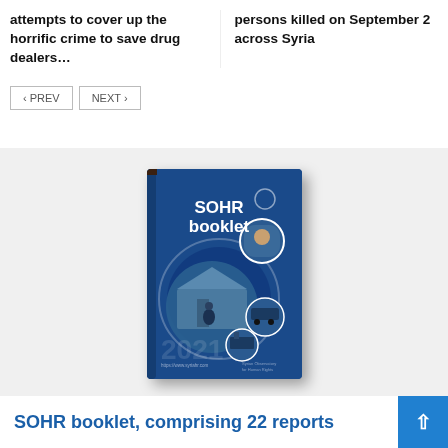attempts to cover up the horrific crime to save drug dealers…
persons killed on September 2 across Syria
‹ PREV    NEXT ›
[Figure (photo): SOHR booklet cover — blue booklet with circular photo collage showing refugee tents and people, titled 'SOHR booklet']
SOHR booklet, comprising 22 reports